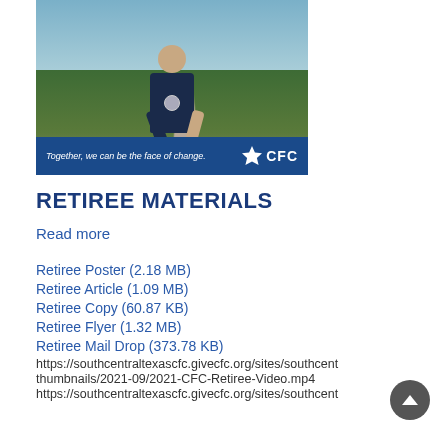[Figure (photo): A person wearing a dark navy DHS polo shirt giving a thumbs-up outdoors near a waterfront path with greenery. Below the photo is a dark blue banner reading 'Together, we can be the face of change.' with the CFC star logo.]
RETIREE MATERIALS
Read more
Retiree Poster (2.18 MB)
Retiree Article (1.09 MB)
Retiree Copy (60.87 KB)
Retiree Flyer (1.32 MB)
Retiree Mail Drop (373.78 KB)
https://southcentraltexascfc.givecfc.org/sites/southcent thumbnails/2021-09/2021-CFC-Retiree-Video.mp4
https://southcentraltexascfc.givecfc.org/sites/southcent